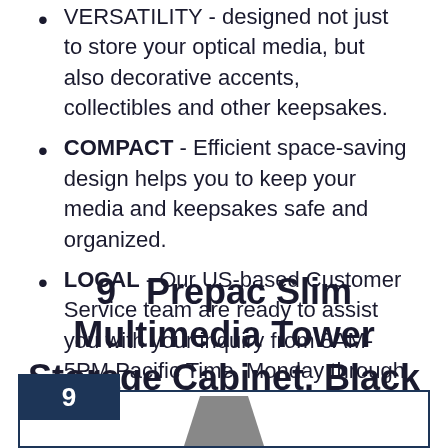VERSATILITY - designed not just to store your optical media, but also decorative accents, collectibles and other keepsakes.
COMPACT - Efficient space-saving design helps you to keep your media and keepsakes safe and organized.
LOCAL - Our US-based Customer Service team are ready to assist you with your inquiry from 8AM-5PM Pacific Time, Monday through Friday
9   Prepac Slim Multimedia Tower Storage Cabinet, Black
[Figure (photo): Product image box with number badge '9' in dark navy blue, showing the beginning of a product photo of the Prepac Slim Multimedia Tower Storage Cabinet in Black]